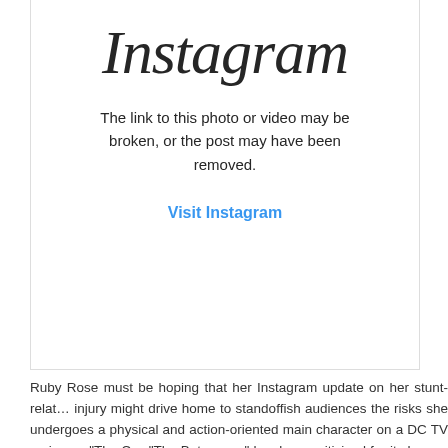[Figure (screenshot): Instagram embedded post error screen showing logo, broken link message, and Visit Instagram link]
Ruby Rose must be hoping that her Instagram update on her stunt-related injury might drive home to standoffish audiences the risks she undergoes as a physical and action-oriented main character on a DC TV series on "The C… "The Batwoman" has been criticized for its heavy-handedness of femin…